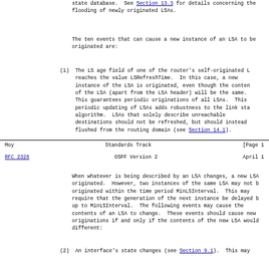state database.  See Section 13.3 for details concerning the flooding of newly originated LSAs.
The ten events that can cause a new instance of an LSA to be originated are:
(1) The LS age field of one of the router's self-originated LSA reaches the value LSRefreshTime. In this case, a new instance of the LSA is originated, even though the contents of the LSA (apart from the LSA header) will be the same. This guarantees periodic originations of all LSAs. This periodic updating of LSAs adds robustness to the link state algorithm. LSAs that solely describe unreachable destinations should not be refreshed, but should instead be flushed from the routing domain (see Section 14.1).
Moy                         Standards Track                    [Page 1
RFC 2328                    OSPF Version 2                     April 1
When whatever is being described by an LSA changes, a new LSA originated. However, two instances of the same LSA may not be originated within the time period MinLSInterval. This may require that the generation of the next instance be delayed by up to MinLSInterval. The following events may cause the contents of an LSA to change. These events should cause new originations if and only if the contents of the new LSA would be different:
(2) An interface's state changes (see Section 9.1). This may